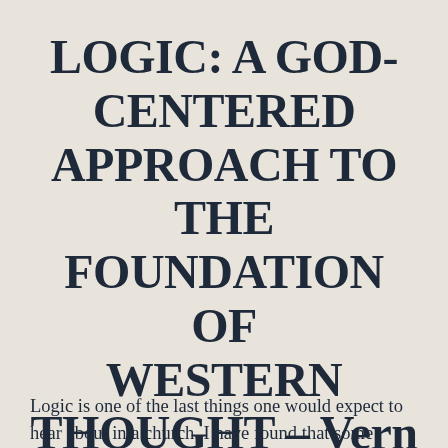LOGIC: A GOD-CENTERED APPROACH TO THE FOUNDATION OF WESTERN THOUGHT – Vern Poythress (2013)
Logic is one of the last things one would expect to hear about in a church. I have found that some